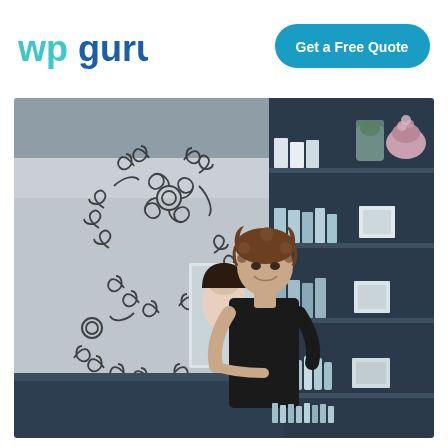[Figure (logo): WPGuru logo — 'wp' in teal/cyan color, 'guru' in dark blue color, stylized lowercase lettering]
[Figure (other): Teal/dark blue rounded rectangle button with white bold text 'Get a Free Quote']
[Figure (photo): Interior photo of a beauty/skincare salon. Left side shows a decorative wrought-iron scrollwork wall art panel on a grey wall. Right side shows dark navy blue shelving unit filled with skincare products and a ceramic vase. In the center-right, a woman with curly brown hair wearing a black t-shirt stands smiling, leaning on a reception counter. A beauty poster is partially visible behind her.]